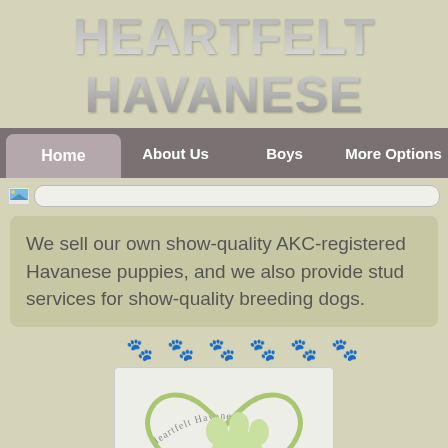HEARTFELT HAVANESE
[Figure (screenshot): Navigation bar with Home (active/highlighted), About Us, Boys, More Options]
[Figure (other): Search bar with small image icon on the left]
We sell our own show-quality AKC-registered Havanese puppies, and we also provide stud services for show-quality breeding dogs.
[Figure (illustration): Row of gray paw print emoji icons as decorative divider]
[Figure (logo): Heartfelt Havanese logo: a lime green heart shape with a paw print, letters HH inside, text 'Heartfelt Havanese' arching at top and 'Breeding with Heart' at bottom]